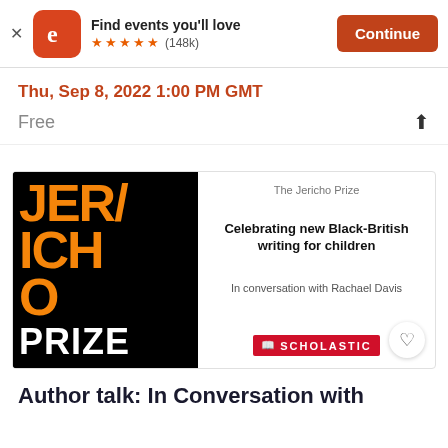[Figure (screenshot): Eventbrite app banner with logo, 'Find events you'll love', 5 stars (148k reviews), and Continue button]
Thu, Sep 8, 2022 1:00 PM GMT
Free
[Figure (illustration): Jericho Prize event card showing black background with orange JERICHO/PRIZE text logo on the left, and on the right: 'The Jericho Prize', 'Celebrating new Black-British writing for children', 'In conversation with Rachael Davis', and Scholastic logo]
Author talk: In Conversation with